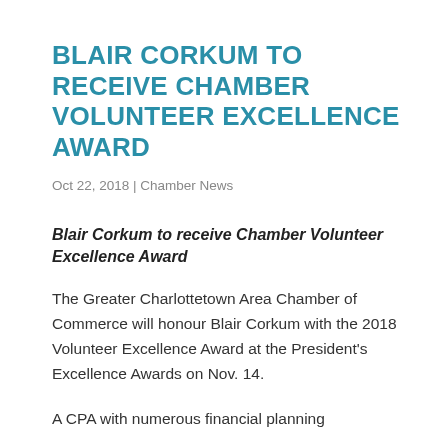BLAIR CORKUM TO RECEIVE CHAMBER VOLUNTEER EXCELLENCE AWARD
Oct 22, 2018 | Chamber News
Blair Corkum to receive Chamber Volunteer Excellence Award
The Greater Charlottetown Area Chamber of Commerce will honour Blair Corkum with the 2018 Volunteer Excellence Award at the President's Excellence Awards on Nov. 14.
A CPA with numerous financial planning